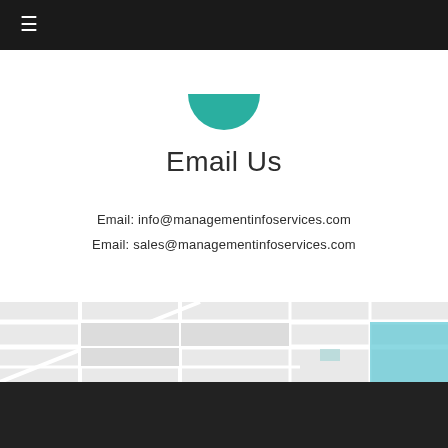≡
[Figure (illustration): Teal circular icon partially visible at top of white content section]
Email Us
Email: info@managementinfoservices.com
Email: sales@managementinfoservices.com
[Figure (map): Street map background showing city blocks and roads in light gray and white tones with a blue accent]
PRIVACY POLICY   FAQS   CONTACT US
© 2022 MIS Theme. All Rights Reserved.